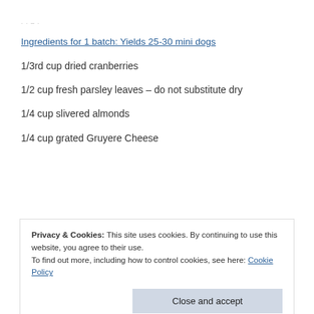· · – ·
Ingredients for 1 batch:  Yields 25-30 mini dogs
1/3rd cup dried cranberries
1/2 cup fresh parsley leaves – do not substitute dry
1/4 cup slivered almonds
1/4 cup grated Gruyere Cheese
Privacy & Cookies: This site uses cookies. By continuing to use this website, you agree to their use.
To find out more, including how to control cookies, see here: Cookie Policy
Close and accept
2-3 links PRE COOKED apple flavored (or other) chicken sausage